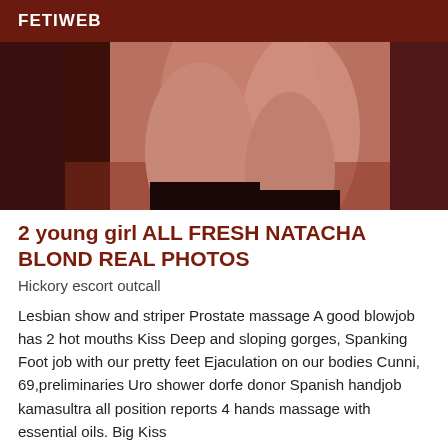FETIWEB
[Figure (photo): Close-up photo of a person's legs against a dark reddish-brown background]
2 young girl ALL FRESH NATACHA BLOND REAL PHOTOS
Hickory escort outcall
Lesbian show and striper Prostate massage A good blowjob has 2 hot mouths Kiss Deep and sloping gorges, Spanking Foot job with our pretty feet Ejaculation on our bodies Cunni, 69,preliminaries Uro shower dorfe donor Spanish handjob kamasultra all position reports 4 hands massage with essential oils. Big Kiss
[Figure (photo): Bottom partial photo with dark background, Verified badge in bottom right corner]